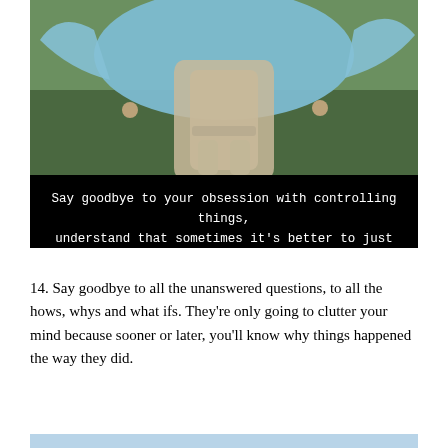[Figure (photo): Person outdoors in a grassy field, holding up a large light blue fabric or garment that billows in the wind. Black overlay banner at the bottom contains quote text.]
Say goodbye to your obsession with controlling things, understand that sometimes it's better to just let things be and let the answers come to you.
14. Say goodbye to all the unanswered questions, to all the hows, whys and what ifs. They're only going to clutter your mind because sooner or later, you'll know why things happened the way they did.